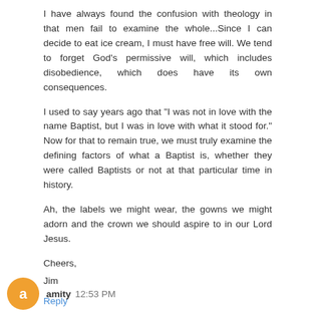I have always found the confusion with theology in that men fail to examine the whole...Since I can decide to eat ice cream, I must have free will. We tend to forget God's permissive will, which includes disobedience, which does have its own consequences.
I used to say years ago that "I was not in love with the name Baptist, but I was in love with what it stood for." Now for that to remain true, we must truly examine the defining factors of what a Baptist is, whether they were called Baptists or not at that particular time in history.
Ah, the labels we might wear, the gowns we might adorn and the crown we should aspire to in our Lord Jesus.
Cheers,
Jim
Reply
amity 12:53 PM